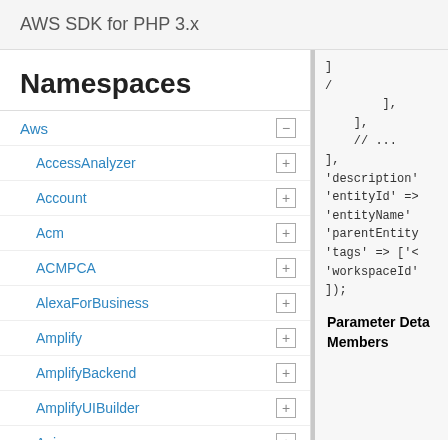AWS SDK for PHP 3.x
Namespaces
Aws
AccessAnalyzer
Account
Acm
ACMPCA
AlexaForBusiness
Amplify
AmplifyBackend
AmplifyUIBuilder
Api
ApiGateway
ApiGatewayManagementApi
],
    // ...
            ],
        ],
        // ...
    ],
    'description'
    'entityId' =>
    'entityName'
    'parentEntity
    'tags' => ['<
    'workspaceId'
]);
Parameter Deta
Members